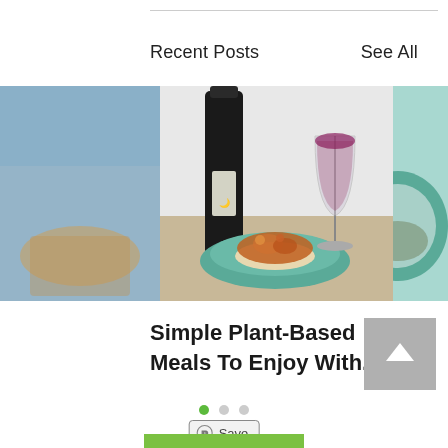Recent Posts
See All
[Figure (photo): Food blog post image showing a wine bottle, a plate of plant-based stew over couscous on a teal plate, and a glass of red wine, with partial images of food dishes on left and right edges]
Simple Plant-Based Meals To Enjoy With...
[Figure (other): Three pagination dots, first dot active (green), other two grey]
[Figure (other): Save button with Pinterest icon]
[Figure (other): Green bar at bottom (partially visible button)]